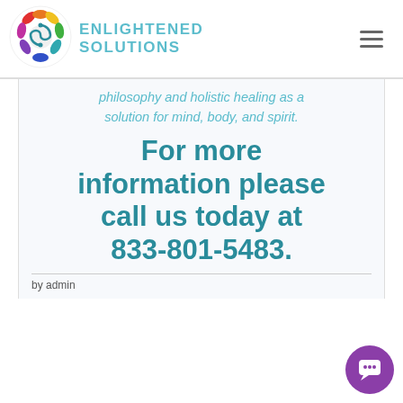[Figure (logo): Enlightened Solutions logo: colorful circular emblem with people/yin-yang motif, beside teal text reading ENLIGHTENED SOLUTIONS]
philosophy and holistic healing as a solution for mind, body, and spirit.
For more information please call us today at 833-801-5483.
by admin